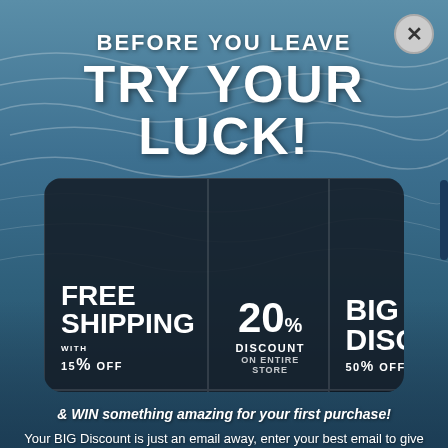[Figure (screenshot): Water surface background image with blue/teal ripple texture]
BEFORE YOU LEAVE
TRY YOUR LUCK!
[Figure (infographic): Dark rounded card with 5 promotion cells in a 3x2 grid: FREE SHIPPING 15% WITH OFF, 20% DISCOUNT ON ENTIRE STORE, BIG DISCOUNT 50% OFF, 15% DISCOUNT ON ENTIRE STORE, BUY 1 GET 2 FREE]
& WIN something amazing for your first purchase!
Your BIG Discount is just an email away, enter your best email to give